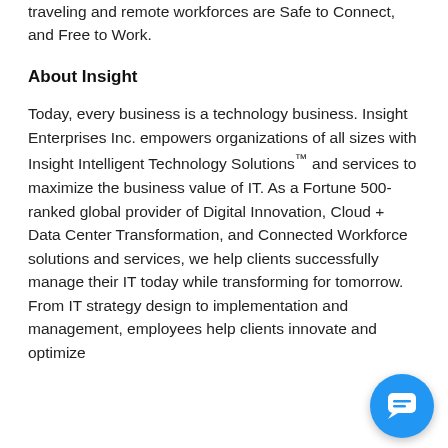traveling and remote workforces are Safe to Connect, and Free to Work.
About Insight
Today, every business is a technology business. Insight Enterprises Inc. empowers organizations of all sizes with Insight Intelligent Technology Solutions™ and services to maximize the business value of IT. As a Fortune 500-ranked global provider of Digital Innovation, Cloud + Data Center Transformation, and Connected Workforce solutions and services, we help clients successfully manage their IT today while transforming for tomorrow. From IT strategy design to implementation and management, employees help clients innovate and optimize
[Figure (other): Chat button UI element - circular blue button with white chat bubble icon in bottom right corner]